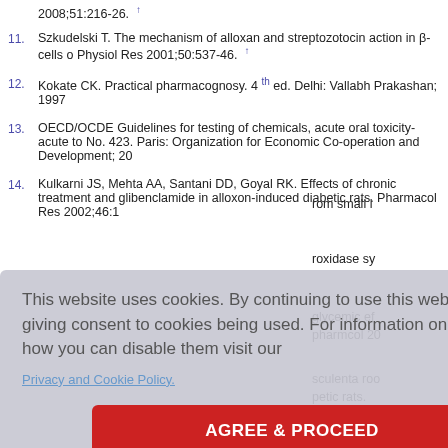2008;51:216-26. ↑
11. Szkudelski T. The mechanism of alloxan and streptozotocin action in β-cells o Physiol Res 2001;50:537-46. ↑
12. Kokate CK. Practical pharmacognosy. 4th ed. Delhi: Vallabh Prakashan; 1997
13. OECD/OCDE Guidelines for testing of chemicals, acute oral toxicity-acute to No. 423. Paris: Organization for Economic Co-operation and Development; 20
14. Kulkarni JS, Mehta AA, Santani DD, Goyal RK. Effects of chronic treatment and glibenclamide in alloxon-induced diabetic rats. Pharmacol Res 2002;46:1
This website uses cookies. By continuing to use this website you are giving consent to cookies being used. For information on cookies and how you can disable them visit our
Privacy and Cookie Policy.
AGREE & PROCEED